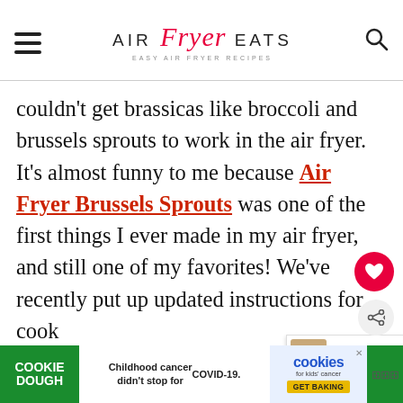AIR FRYER EATS — EASY AIR FRYER RECIPES
couldn't get brassicas like broccoli and brussels sprouts to work in the air fryer. It's almost funny to me because Air Fryer Brussels Sprouts was one of the first things I ever made in my air fryer, and still one of my favorites! We've recently put up updated instructions for cooking frozen broccoli and fresh broccoli
[Figure (other): Cookie Dough ad banner: green background with 'COOKIE DOUGH' text on left, center text 'Childhood cancer didn't stop for COVID-19.', right side shows Cookies for Kids' Cancer logo and 'GET BAKING' button]